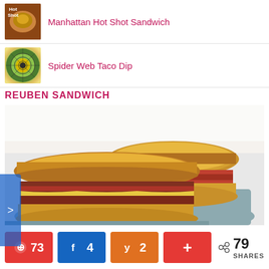Manhattan Hot Shot Sandwich
Spider Web Taco Dip
REUBEN SANDWICH
[Figure (photo): Close-up photo of a Reuben sandwich cut in half showing melted cheese, corned beef, and toasted rye bread on a blue-gray plate]
[Figure (other): Social share bar with Pinterest (73), Facebook (4), Yummly (2), More (+), and total 79 SHARES]